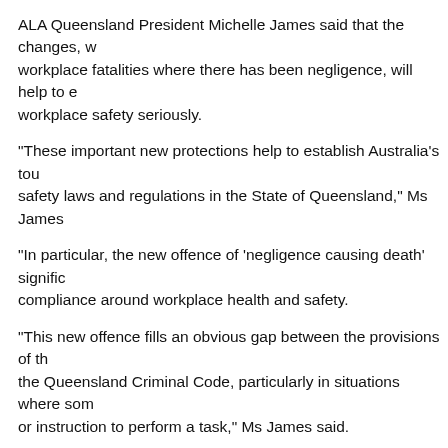ALA Queensland President Michelle James said that the changes, w workplace fatalities where there has been negligence, will help to e workplace safety seriously.
“These important new protections help to establish Australia’s tou safety laws and regulations in the State of Queensland,” Ms James
“In particular, the new offence of ‘negligence causing death’ signific compliance around workplace health and safety.
“This new offence fills an obvious gap between the provisions of th the Queensland Criminal Code, particularly in situations where som or instruction to perform a task,” Ms James said.
“This is where a worker has been given instructions which are plai practice and in which obvious safety concerns have been ignored.”
Ms James said that the investigation and prosecution of executive robust safety culture and leadership at the helm of corporate entit
“The message is now clear: your workplace kills someone, you ca in jail,” Ms James said.
“These upgraded laws are not just to the benefit of workers in wo